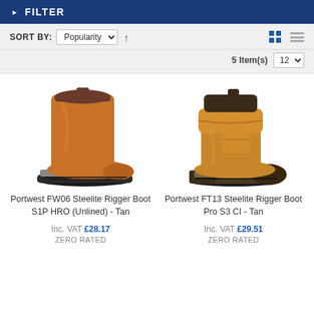FILTER
SORT BY: Popularity ↑  5 Item(s)  12
[Figure (photo): Portwest FW06 Steelite Rigger Boot S1P HRO (Unlined) in Tan - a tall pull-on safety boot with tan leather upper and black sole]
Portwest FW06 Steelite Rigger Boot S1P HRO (Unlined) - Tan
Inc. VAT £28.17
ZERO RATED
[Figure (photo): Portwest FT13 Steelite Rigger Boot Pro S3 CI in Tan - a tan leather rigger boot with dark toe cap and chunky sole]
Portwest FT13 Steelite Rigger Boot Pro S3 CI - Tan
Inc. VAT £29.51
ZERO RATED